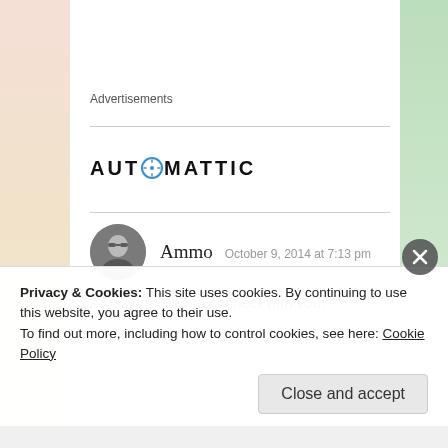Advertisements
[Figure (logo): Automattic logo in bold spaced letters with a compass icon replacing the O]
Ammo   October 9, 2014 at 7:13 pm
Amazing, Glad to connect with you!
Privacy & Cookies: This site uses cookies. By continuing to use this website, you agree to their use.
To find out more, including how to control cookies, see here: Cookie Policy
Close and accept